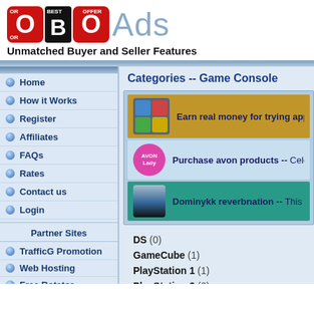[Figure (logo): OBOAds logo with two red O letters, black B letter, and gray 'Ads' text]
Unmatched Buyer and Seller Features
Home
How it Works
Register
Affiliates
FAQs
Rates
Contact us
Login
Partner Sites
TrafficG Promotion
Web Hosting
Free Rotator
All4Webs
Categories -- Game Console
Earn real money for trying apps -- Yes
Purchase avon products -- Celebrating
Dominykk reverbnation -- This is a mu
DS (0)
GameCube (1)
PlayStation 1 (1)
PlayStation 3 (0)
Wii (0)